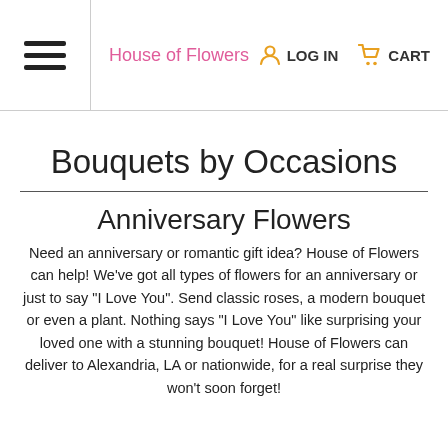House of Flowers | LOG IN | CART
Bouquets by Occasions
Anniversary Flowers
Need an anniversary or romantic gift idea? House of Flowers can help! We've got all types of flowers for an anniversary or just to say "I Love You". Send classic roses, a modern bouquet or even a plant. Nothing says "I Love You" like surprising your loved one with a stunning bouquet! House of Flowers can deliver to Alexandria, LA or nationwide, for a real surprise they won't soon forget!